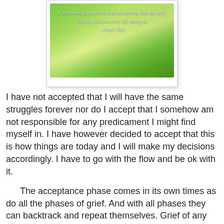[Figure (photo): A polaroid-style photo of a person sitting in green grass with text overlay: 'I am coming to terms and accepting that as well. Tricky business this life thing is. –Angie Bee']
I have not accepted that I will have the same struggles forever nor do I accept that I somehow am not responsible for any predicament I might find myself in. I have however decided to accept that this is how things are today and I will make my decisions accordingly. I have to go with the flow and be ok with it.
The acceptance phase comes in its own times as do all the phases of grief. And with all phases they can backtrack and repeat themselves. Grief of any kind no matter how big or small move this way. Knowing what to expect and how to recognize the phases is very helpful, but no matter the amount of understanding, the phases come and must be endured with the intent of coming out a wiser person at the